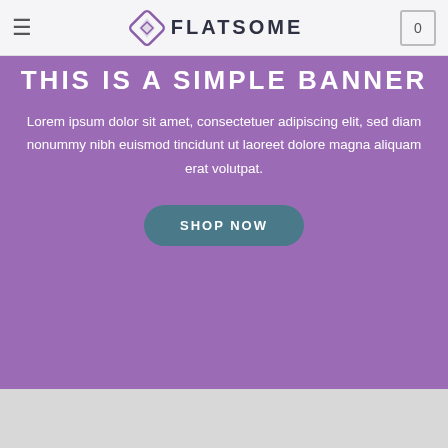FLATSOME
THIS IS A SIMPLE BANNER
Lorem ipsum dolor sit amet, consectetuer adipiscing elit, sed diam nonummy nibh euismod tincidunt ut laoreet dolore magna aliquam erat volutpat.
SHOP NOW